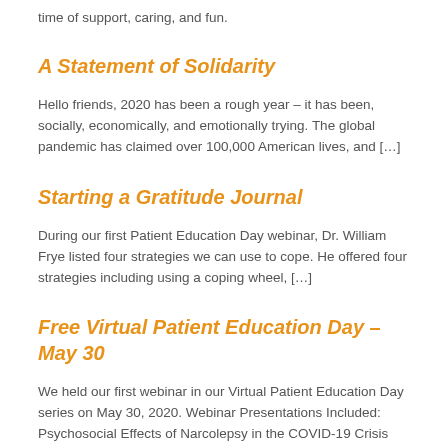time of support, caring, and fun.
A Statement of Solidarity
Hello friends, 2020 has been a rough year – it has been, socially, economically, and emotionally trying. The global pandemic has claimed over 100,000 American lives, and […]
Starting a Gratitude Journal
During our first Patient Education Day webinar, Dr. William Frye listed four strategies we can use to cope. He offered four strategies including using a coping wheel, […]
Free Virtual Patient Education Day – May 30
We held our first webinar in our Virtual Patient Education Day series on May 30, 2020. Webinar Presentations Included: Psychosocial Effects of Narcolepsy in the COVID-19 Crisis […]